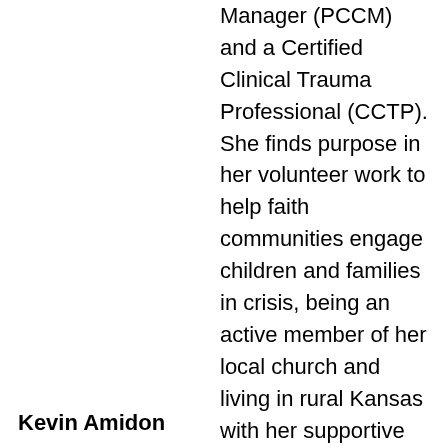Manager (PCCM) and a Certified Clinical Trauma Professional (CCTP). She finds purpose in her volunteer work to help faith communities engage children and families in crisis, being an active member of her local church and living in rural Kansas with her supportive husband and two adventurous sons. Jessica embraces any opportunity to turn off her cell phone and be immersed in nature, sunshine and fresh air.
Kevin Amidon